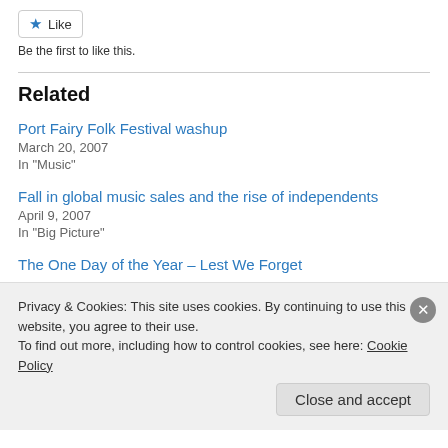[Figure (other): Like button with star icon]
Be the first to like this.
Related
Port Fairy Folk Festival washup
March 20, 2007
In "Music"
Fall in global music sales and the rise of independents
April 9, 2007
In "Big Picture"
The One Day of the Year – Lest We Forget
Privacy & Cookies: This site uses cookies. By continuing to use this website, you agree to their use.
To find out more, including how to control cookies, see here: Cookie Policy